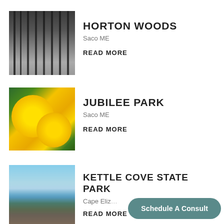[Figure (photo): Dark birch/forest trees photo for Horton Woods listing]
HORTON WOODS
Saco ME
READ MORE
[Figure (photo): Yellow flowers with bee photo for Jubilee Park listing]
JUBILEE PARK
Saco ME
READ MORE
[Figure (photo): Coastal scene with ocean and rocks for Kettle Cove State Park listing]
KETTLE COVE STATE PARK
Cape Eliz…
READ MORE
Schedule A Consult